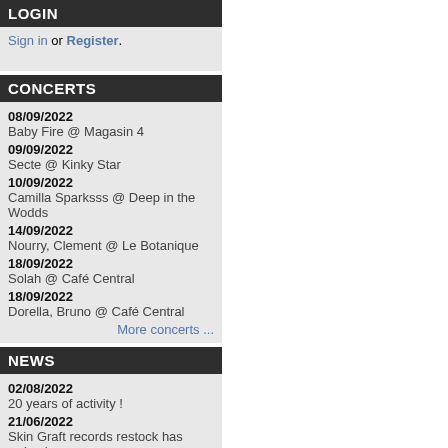LOGIN
Sign in or Register.
CONCERTS
08/09/2022 Baby Fire @ Magasin 4
09/09/2022 Secte @ Kinky Star
10/09/2022 Camilla Sparksss @ Deep in the Wodds
14/09/2022 Nourry, Clement @ Le Botanique
18/09/2022 Solah @ Café Central
18/09/2022 Dorella, Bruno @ Café Central
More concerts ...
NEWS
02/08/2022 20 years of activity !
21/06/2022 Skin Graft records restock has arrived.
14/06/2022 New releases are in stock !
07/06/2022 SOLAH "Ballades" CD is in stock
More news ...
FEEDBACKS
P... (France) Une superbe transaction. Merci beaucoup ...
P... (Belgium) Perfectly packaged and delivered.